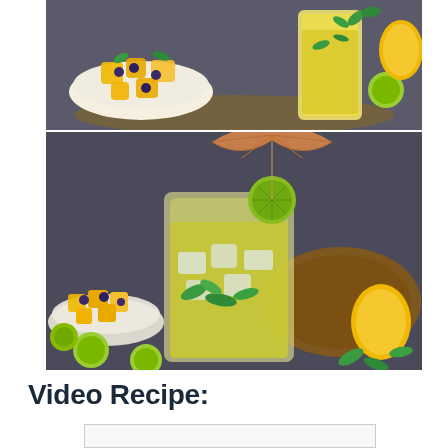[Figure (photo): Top photo: a bowl of mango and blueberry fruit salad on a wooden board, next to a tall glass of yellow mango drink garnished with mint leaves, with limes and mangoes on the side, on a dark grey background.]
[Figure (photo): Bottom photo: a close-up of a tall glass of mango mojito with ice, mint leaves, lime slice on rim, and a decorative paper umbrella. Background shows a bowl of mango blueberry salad, limes, mangoes, and mint leaves on a dark grey surface.]
Video Recipe: